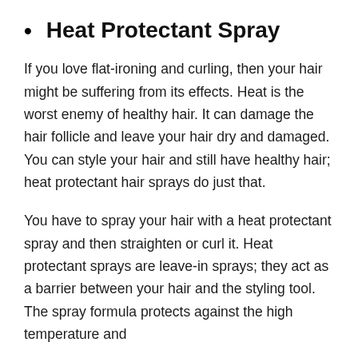Heat Protectant Spray
If you love flat-ironing and curling, then your hair might be suffering from its effects. Heat is the worst enemy of healthy hair. It can damage the hair follicle and leave your hair dry and damaged. You can style your hair and still have healthy hair; heat protectant hair sprays do just that.
You have to spray your hair with a heat protectant spray and then straighten or curl it. Heat protectant sprays are leave-in sprays; they act as a barrier between your hair and the styling tool. The spray formula protects against the high temperature and